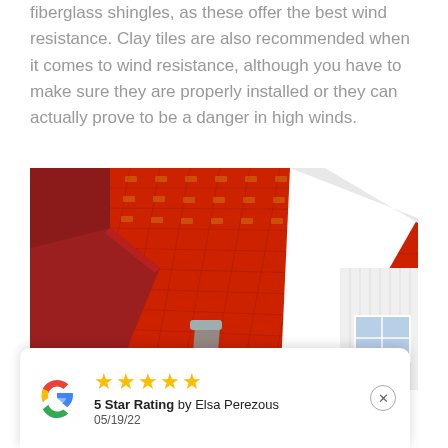fiberglass shingles, as these offer the best wind resistance. Clay tiles are also recommended when it comes to wind resistance, although you have to make sure they are properly installed or they can actually prove to be a danger in high winds.
[Figure (photo): Close-up photograph of a red clay tile roof on a house with white trim and a downspout/gutter, blue sky in background]
★★★★★ 5 Star Rating by Elsa Perezous 05/19/22